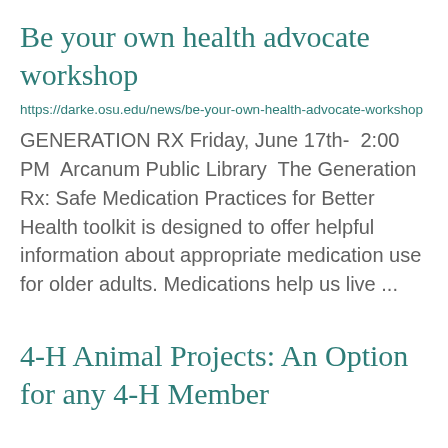Be your own health advocate workshop
https://darke.osu.edu/news/be-your-own-health-advocate-workshop
GENERATION RX Friday, June 17th-  2:00 PM  Arcanum Public Library  The Generation Rx: Safe Medication Practices for Better Health toolkit is designed to offer helpful information about appropriate medication use for older adults. Medications help us live ...
4-H Animal Projects: An Option for any 4-H Member